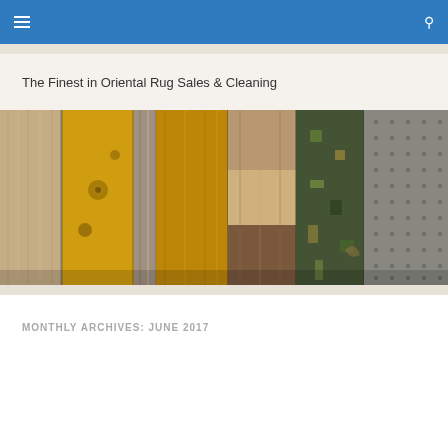☰  🔍
The Finest in Oriental Rug Sales & Cleaning
[Figure (photo): Row of rolled oriental rugs standing upright showing various textures and patterns in tan, gold, brown, and grey tones]
MONTHLY ARCHIVES: JUNE 2017